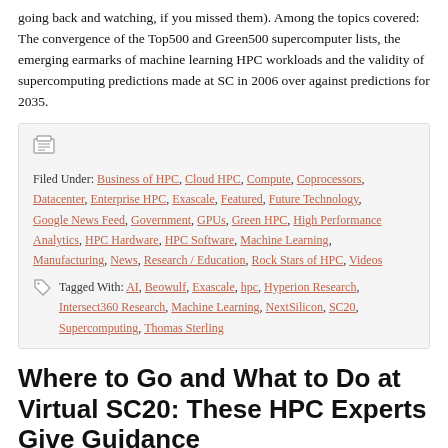going back and watching, if you missed them). Among the topics covered: The convergence of the Top500 and Green500 supercomputer lists, the emerging earmarks of machine learning HPC workloads and the validity of supercomputing predictions made at SC in 2006 over against predictions for 2035.
Filed Under: Business of HPC, Cloud HPC, Compute, Coprocessors, Datacenter, Enterprise HPC, Exascale, Featured, Future Technology, Google News Feed, Government, GPUs, Green HPC, High Performance Analytics, HPC Hardware, HPC Software, Machine Learning, Manufacturing, News, Research / Education, Rock Stars of HPC, Videos | Tagged With: AI, Beowulf, Exascale, hpc, Hyperion Research, Intersect360 Research, Machine Learning, NextSilicon, SC20, Supercomputing, Thomas Sterling
Where to Go and What to Do at Virtual SC20: These HPC Experts Give Guidance
November 13, 2020 by Doug Black